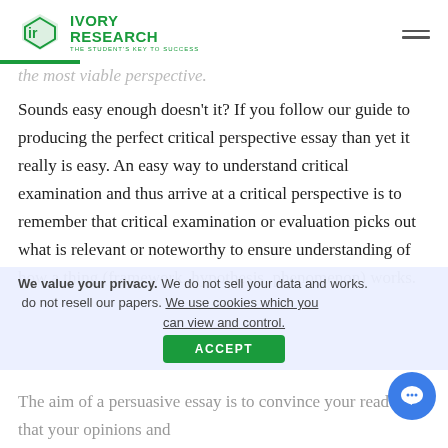IVORY RESEARCH — THE STUDENT'S KEY TO SUCCESS
the most viable perspective.
Sounds easy enough doesn't it? If you follow our guide to producing the perfect critical perspective essay than yet it really is easy. An easy way to understand critical examination and thus arrive at a critical perspective is to remember that critical examination or evaluation picks out what is relevant or noteworthy to ensure understanding of how a thing (framework, hypothesis, phenomenon) works.
We value your privacy. We do not sell your data and do not resell our papers. We use cookies which you can view and control.
The aim of a persuasive essay is to convince your reader that your opinions and